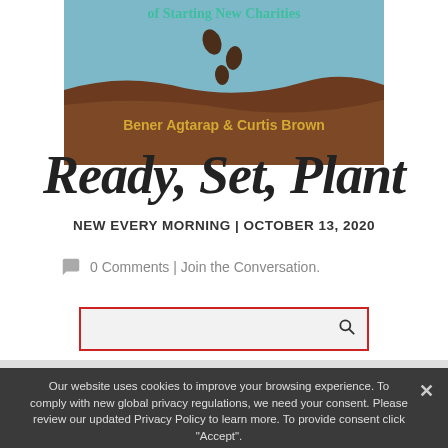[Figure (illustration): Book cover showing title 'Ready, Set, Plant' with seeds falling into soil, teal/blue sky background, brown soil hills. Authors: Bener Agtarap & Curtis Brown. Partial view cropped at top.]
Ready, Set, Plant
NEW EVERY MORNING | OCTOBER 13, 2020
0 Comments | Join the Conversation.
[Figure (other): Search input box with red border and magnifying glass icon]
Our website uses cookies to improve your browsing experience. To comply with new global privacy regulations, we need your consent. Please review our updated Privacy Policy to learn more. To provide consent click "Accept".